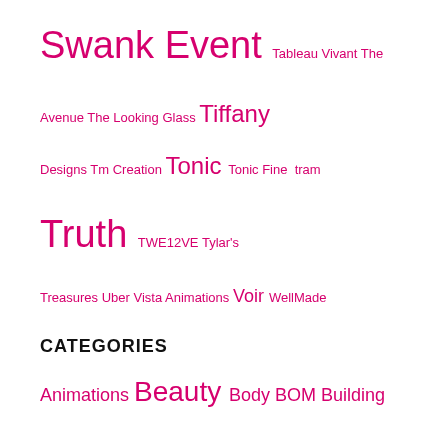Swank Event Tableau Vivant The Avenue The Looking Glass Tiffany Designs Tm Creation Tonic Tonic Fine tram Truth TWE12VE Tylar's Treasures Uber Vista Animations Voir WellMade
CATEGORIES
Animations Beauty Body BOM Building Decorating Decoration Dress Outfits Earring Eye Make-Up Eyes Fashion Female Furniture Furniture/Decor ... H...